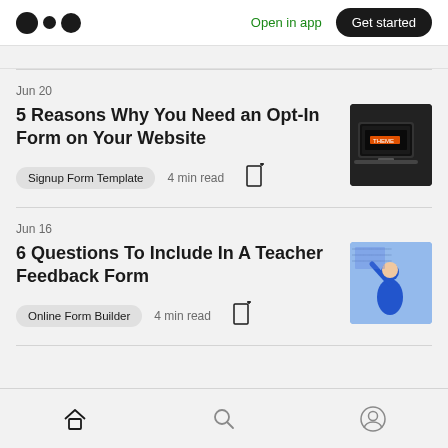Open in app | Get started
Jun 20
5 Reasons Why You Need an Opt-In Form on Your Website
Signup Form Template  4 min read
Jun 16
6 Questions To Include In A Teacher Feedback Form
Online Form Builder  4 min read
Home | Search | Profile